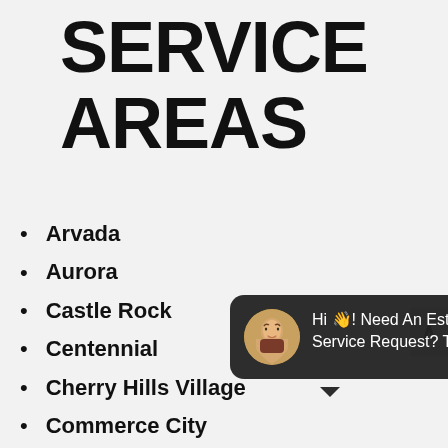SERVICE AREAS
Arvada
Aurora
Castle Rock
Centennial
Cherry Hills Village
Commerce City
Denver
[Figure (screenshot): Chat popup overlay with avatar photo of a woman smiling, dark background, text: 'Hi 👋! Need An Estimate or a Service Request? Text us 24/7' with a close (×) button]
Englewood
Golden
Greenwood Village
Highlands Ranch